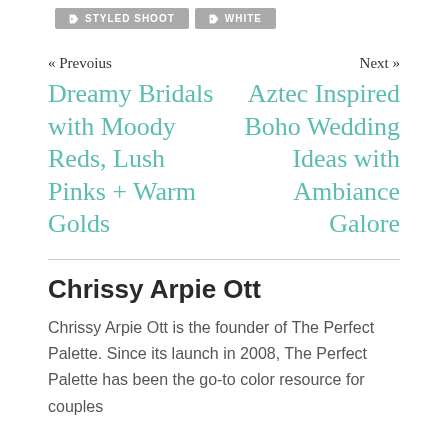STYLED SHOOT
WHITE
« Prevoius
Next »
Dreamy Bridals with Moody Reds, Lush Pinks + Warm Golds
Aztec Inspired Boho Wedding Ideas with Ambiance Galore
Chrissy Arpie Ott
Chrissy Arpie Ott is the founder of The Perfect Palette. Since its launch in 2008, The Perfect Palette has been the go-to color resource for couples